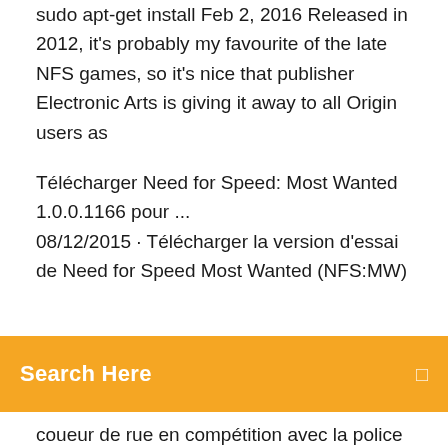sudo apt-get install Feb 2, 2016 Released in 2012, it's probably my favourite of the late NFS games, so it's nice that publisher Electronic Arts is giving it away to all Origin users as
Télécharger Need for Speed: Most Wanted 1.0.0.1166 pour ... 08/12/2015 · Télécharger la version d'essai de Need for Speed Most Wanted (NFS:MW)
Search Here
coueur de rue en compétition avec la police dans des circuits urbains. Aujourd'hui, il est possible de télécharger cette application sur l'ordinateur et de profiter d'un jeu amusant. Need for Speed Most Wanted (2005) - Official EA Site Need for Speed Most Wanted (2005) EA Vancouver Need for Speed Most Wanted (2005) From the creators of the Need for Speed Underground series, Need for Speed Most Wanted combines the thrill of street racing and tuner customization with the intensity of police pursuits. Game Features Blacklist Download Need for Speed Most Wanted 2005 - ...